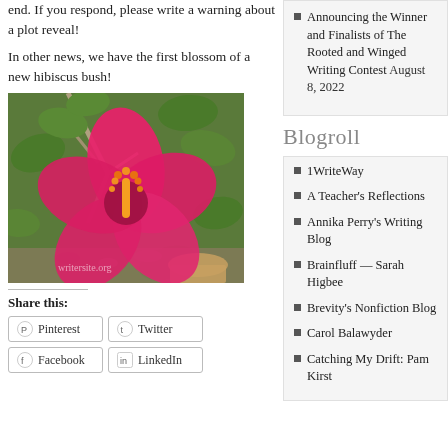end. If you respond, please write a warning about a plot reveal!
In other news, we have the first blossom of a new hibiscus bush!
[Figure (photo): Photo of a bright pink hibiscus flower in bloom, surrounded by green leaves and branches, with watermark 'writersite.org' at the bottom.]
Share this:
Pinterest
Twitter
Facebook
LinkedIn
Announcing the Winner and Finalists of The Rooted and Winged Writing Contest August 8, 2022
Blogroll
1WriteWay
A Teacher's Reflections
Annika Perry's Writing Blog
Brainfluff — Sarah Higbee
Brevity's Nonfiction Blog
Carol Balawyder
Catching My Drift: Pam Kirst